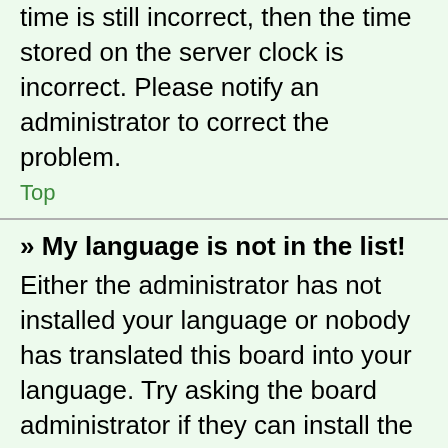time is still incorrect, then the time stored on the server clock is incorrect. Please notify an administrator to correct the problem.
Top
» My language is not in the list!
Either the administrator has not installed your language or nobody has translated this board into your language. Try asking the board administrator if they can install the language pack you need. If the language pack does not exist, feel free to create a new translation. More information can be found at the phpBB website (see link at the bottom of board pages).